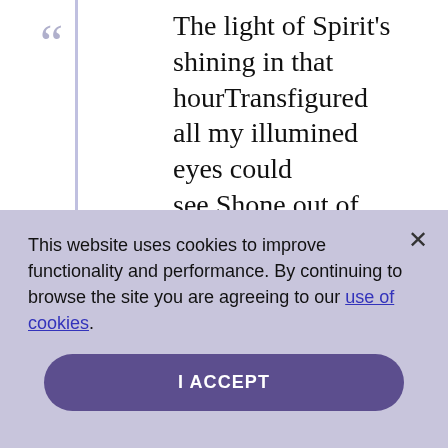The light of Spirit's shining in that hourTransfigured all my illumined eyes could see,Shone out of heaven as sunlight on a
This website uses cookies to improve functionality and performance. By continuing to browse the site you are agreeing to our use of cookies.